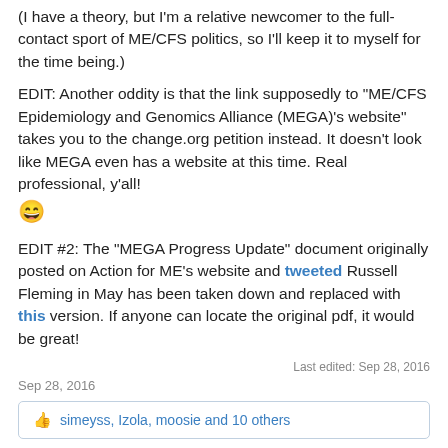(I have a theory, but I'm a relative newcomer to the full-contact sport of ME/CFS politics, so I'll keep it to myself for the time being.)
EDIT: Another oddity is that the link supposedly to "ME/CFS Epidemiology and Genomics Alliance (MEGA)'s website" takes you to the change.org petition instead. It doesn't look like MEGA even has a website at this time. Real professional, y'all! 😄
EDIT #2: The "MEGA Progress Update" document originally posted on Action for ME's website and tweeted Russell Fleming in May has been taken down and replaced with this version. If anyone can locate the original pdf, it would be great!
Last edited: Sep 28, 2016
Sep 28, 2016
simeyss, Izola, moosie and 10 others
◄◄   ◄ Prev   4 of 18   Next ►   ►►